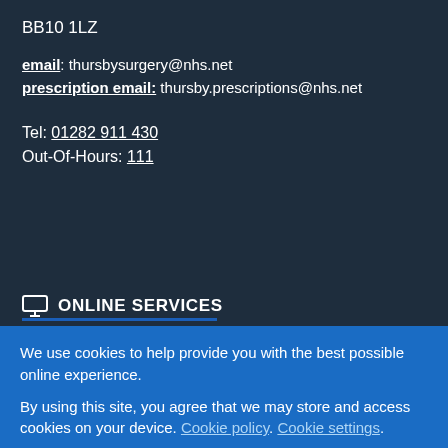BB10 1LZ
email: thursbysurgery@nhs.net
prescription email: thursby.prescriptions@nhs.net
Tel: 01282 911 430
Out-Of-Hours: 111
ONLINE SERVICES
We use cookies to help provide you with the best possible online experience.
By using this site, you agree that we may store and access cookies on your device. Cookie policy. Cookie settings.
ACCEPT